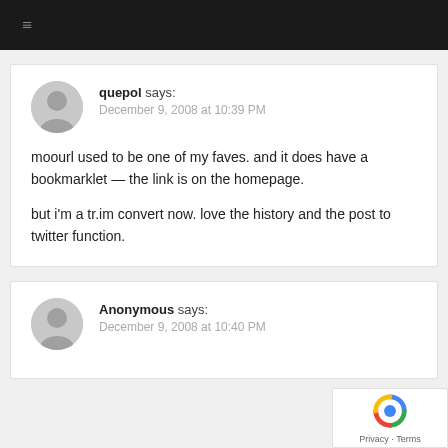≡
quepol says:
December 9, 2008 at 10:39 PM

moourl used to be one of my faves. and it does have a bookmarklet — the link is on the homepage.

but i'm a tr.im convert now. love the history and the post to twitter function.
Anonymous says:
December 9, 2008 at 10:40 PM